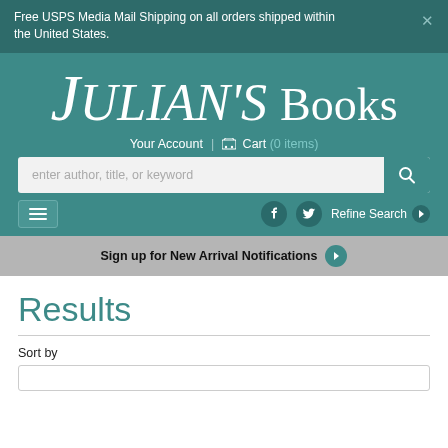Free USPS Media Mail Shipping on all orders shipped within the United States.
[Figure (logo): Julian's Books store logo — stylized italic serif text reading "Julian's Books" in white on teal background]
Your Account  |  Cart (0 items)
enter author, title, or keyword
Refine Search
Sign up for New Arrival Notifications
Results
Sort by